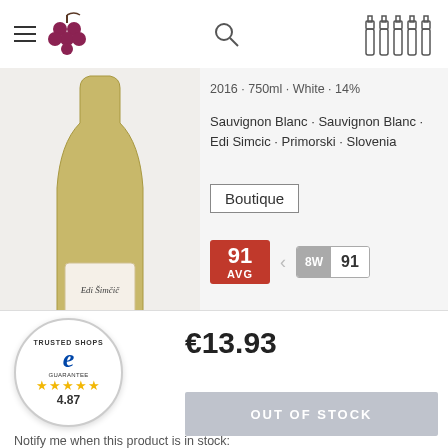Menu | Grape logo | Search | Bottles icon
2016 · 750ml · White · 14%
Sauvignon Blanc · Sauvignon Blanc · Edi Simcic · Primorski · Slovenia
Boutique
91 AVG
8W 91
[Figure (photo): Wine bottle with Edi Simcic label, white wine]
[Figure (logo): Trusted Shops guarantee badge with e logo, 4.87 rating and 5 gold stars]
€13.93
OUT OF STOCK
Notify me when this product is in stock: